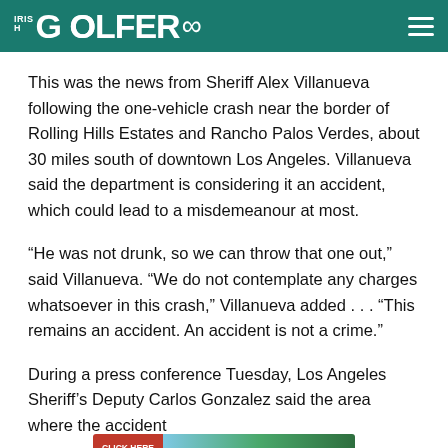IRISH GOLFER ∞
This was the news from Sheriff Alex Villanueva following the one-vehicle crash near the border of Rolling Hills Estates and Rancho Palos Verdes, about 30 miles south of downtown Los Angeles. Villanueva said the department is considering it an accident, which could lead to a misdemeanour at most.
“He was not drunk, so we can throw that one out,” said Villanueva. “We do not contemplate any charges whatsoever in this crash,” Villanueva added . . . “This remains an accident. An accident is not a crime.”
During a press conference Tuesday, Los Angeles Sheriff’s Deputy Carlos Gonzalez said the area where the accident occurred is known to have had several accidents in the
[Figure (other): Advertisement banner for tgigolf travel with red CLICK HERE button on left and scenic travel image on right]